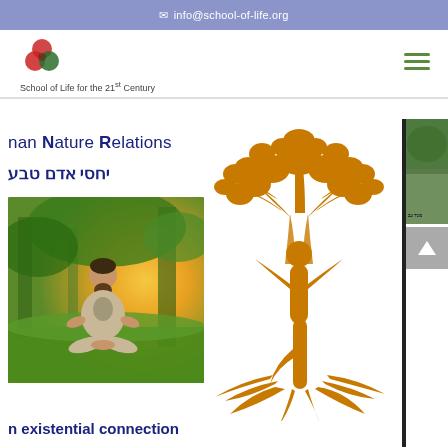✉ info@school-of-life.org
[Figure (logo): School of Life for the 21st Century logo with three overlapping red/green circles forming a trefoil shape]
School of Life for the 21st Century
[Figure (illustration): Hamburger menu icon with three horizontal green lines]
[Figure (illustration): Human-Nature Relations illustration: a woman in yoga tree pose merging with a golden tree with branches and roots, orange/golden color]
nan Nature Relations
יחסי אדם טבע
[Figure (photo): Man meditating outdoors in nature, sitting cross-legged on grass with trees and golden sunlight in background]
n existential connection